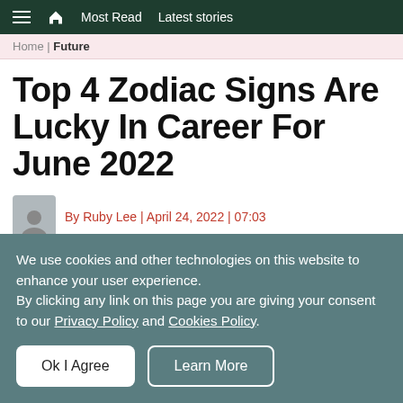≡ ⌂ Most Read  Latest stories
Home | Future
Top 4 Zodiac Signs Are Lucky In Career For June 2022
By Ruby Lee | April 24, 2022 | 07:03
We use cookies and other technologies on this website to enhance your user experience. By clicking any link on this page you are giving your consent to our Privacy Policy and Cookies Policy.
Ok I Agree   Learn More